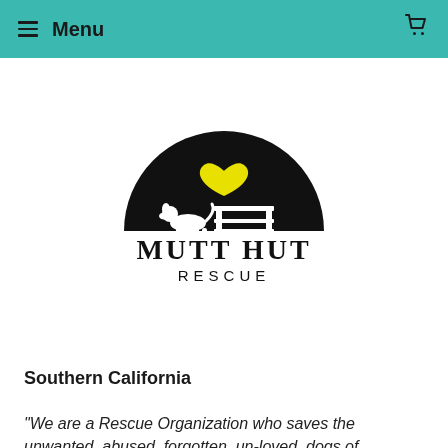Menu
[Figure (logo): Mutt Hut Rescue logo: black silhouette of a dog house with a yellow heart, a dog, and a bench/kennel below, with text 'MUTT HUT RESCUE']
Southern California
“We are a Rescue Organization who saves the unwanted, abused, forgotten, un-loved, dogs of Southern California. We are a foster based rescue